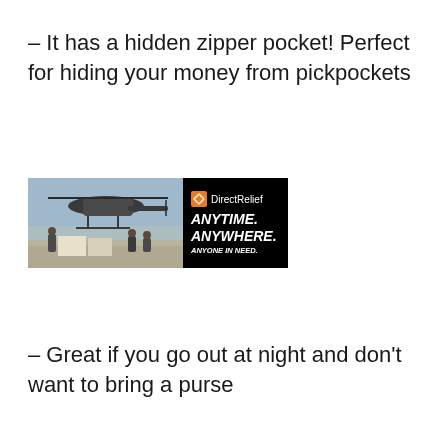– It has a hidden zipper pocket! Perfect for hiding your money from pickpockets
[Figure (illustration): Direct Relief charity advertisement banner showing military personnel loading cargo near a helicopter, with text: ANYTIME. ANYWHERE. ANYONE IN NEED.]
– Great if you go out at night and don't want to bring a purse